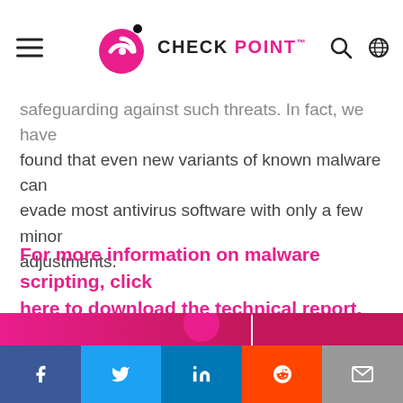CHECK POINT
safeguarding against such threats. In fact, we have found that even new variants of known malware can evade most antivirus software with only a few minor adjustments.
For more information on malware scripting, click here to download the technical report.
Related Articles
[Figure (other): Partial banner/article thumbnail strip at bottom of page]
Social share bar: Facebook, Twitter, LinkedIn, Reddit, Email